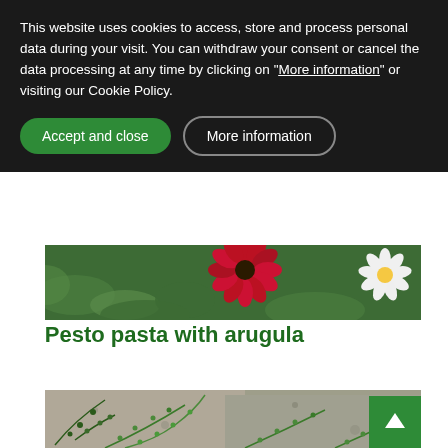This website uses cookies to access, store and process personal data during your visit. You can withdraw your consent or cancel the data processing at any time by clicking on "More information" or visiting our Cookie Policy.
[Figure (other): Green Accept and close button (rounded pill shape)]
[Figure (other): More information button with outline border (rounded pill shape)]
[Figure (photo): Photo of red and white daisy flowers with green foliage]
Pesto pasta with arugula
[Figure (photo): Photo of small fern plants growing over a stone/rock surface with back-to-top arrow button in bottom right corner]